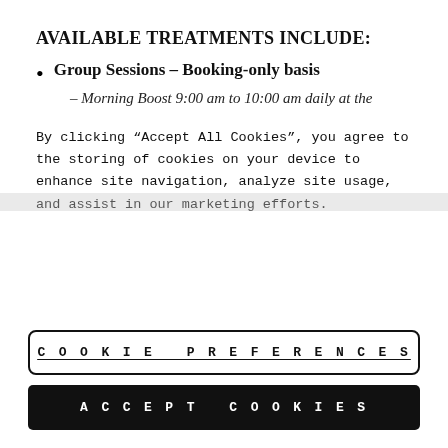AVAILABLE TREATMENTS INCLUDE:
Group Sessions – Booking-only basis
– Morning Boost 9:00 am to 10:00 am daily at the
By clicking “Accept All Cookies”, you agree to the storing of cookies on your device to enhance site navigation, analyze site usage, and assist in our marketing efforts.
COOKIE PREFERENCES
ACCEPT COOKIES